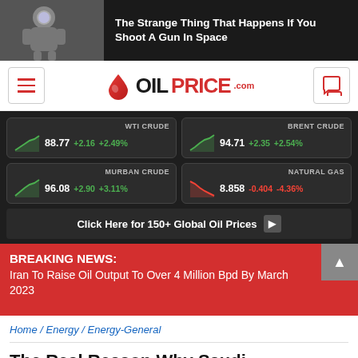[Figure (screenshot): Ad banner: astronaut image with headline 'The Strange Thing That Happens If You Shoot A Gun In Space' on dark background]
[Figure (logo): OilPrice.com logo with navigation menu icon and chat icon]
| Commodity | Price | Change | % Change |
| --- | --- | --- | --- |
| WTI CRUDE | 88.77 | +2.16 | +2.49% |
| BRENT CRUDE | 94.71 | +2.35 | +2.54% |
| MURBAN CRUDE | 96.08 | +2.90 | +3.11% |
| NATURAL GAS | 8.858 | -0.404 | -4.36% |
Click Here for 150+ Global Oil Prices
BREAKING NEWS: Iran To Raise Oil Output To Over 4 Million Bpd By March 2023
Home / Energy / Energy-General
The Real Reason Why Saudi